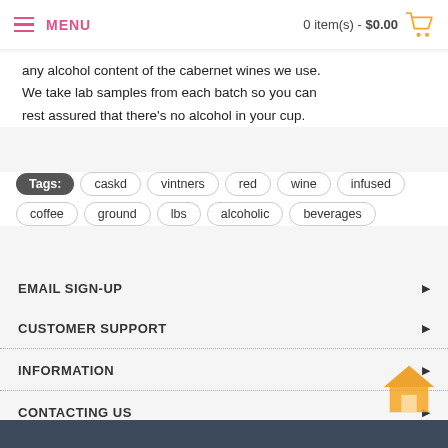MENU | 0 item(s) - $0.00
any alcohol content of the cabernet wines we use. We take lab samples from each batch so you can rest assured that there's no alcohol in your cup.
Tags: caskd vintners red wine infused coffee ground lbs alcoholic beverages
EMAIL SIGN-UP
CUSTOMER SUPPORT
INFORMATION
CONTACTING US